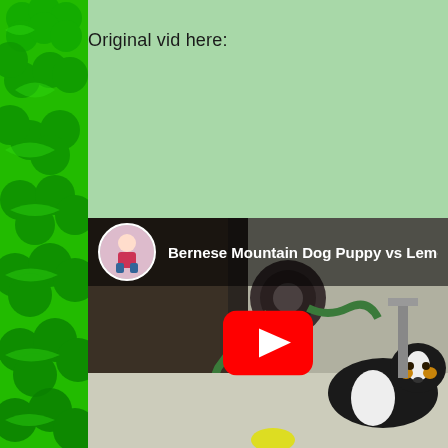Original vid here:
[Figure (screenshot): Embedded YouTube video thumbnail showing a Bernese Mountain Dog puppy on a concrete surface near a garden hose reel in a garage. The video header shows a channel avatar (woman sitting) and title 'Bernese Mountain Dog Puppy vs Lemo' (truncated). A red YouTube play button is centered on the thumbnail.]